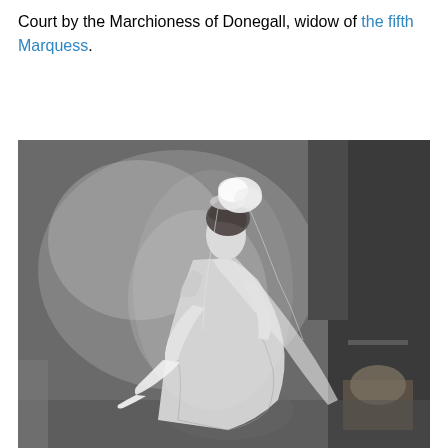Court by the Marchioness of Donegall, widow of the fifth Marquess.
[Figure (photo): Black and white photograph of a woman in an Edwardian court presentation gown with a long veil, tiara, and elbow-length gloves, holding a fan, standing in a formal studio portrait setting with a chair visible in the background.]